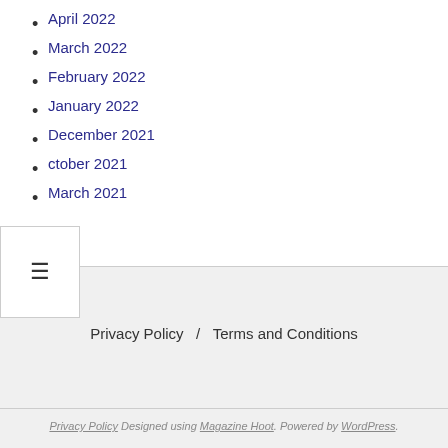April 2022
March 2022
February 2022
January 2022
December 2021
October 2021
March 2021
Privacy Policy / Terms and Conditions
Privacy Policy Designed using Magazine Hoot. Powered by WordPress.